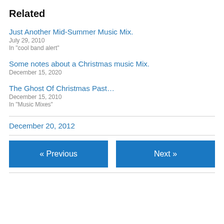Related
Just Another Mid-Summer Music Mix.
July 29, 2010
In "cool band alert"
Some notes about a Christmas music Mix.
December 15, 2020
The Ghost Of Christmas Past…
December 15, 2010
In "Music Mixes"
December 20, 2012
« Previous
Next »